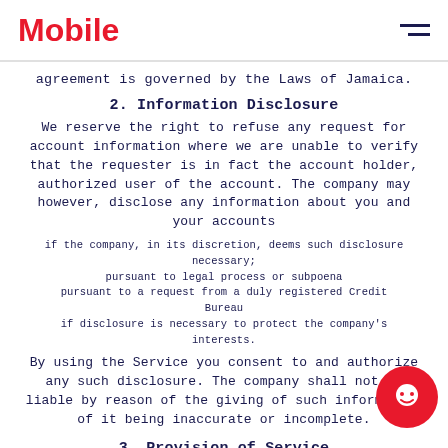Mobile
agreement is governed by the Laws of Jamaica.
2. Information Disclosure
We reserve the right to refuse any request for account information where we are unable to verify that the requester is in fact the account holder, authorized user of the account. The company may however, disclose any information about you and your accounts
if the company, in its discretion, deems such disclosure necessary;
pursuant to legal process or subpoena
pursuant to a request from a duly registered Credit Bureau
if disclosure is necessary to protect the company's interests.
By using the Service you consent to and authorize any such disclosure. The company shall not be liable by reason of the giving of such information of it being inaccurate or incomplete.
3. Provision of Service
Our Services are provided by media devices in a